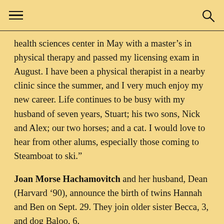[hamburger menu] [search icon]
health sciences center in May with a master’s in physical therapy and passed my licensing exam in August. I have been a physical therapist in a nearby clinic since the summer, and I very much enjoy my new career. Life continues to be busy with my husband of seven years, Stuart; his two sons, Nick and Alex; our two horses; and a cat. I would love to hear from other alums, especially those coming to Steamboat to ski.”
Joan Morse Hachamovitch and her husband, Dean (Harvard ‘90), announce the birth of twins Hannah and Ben on Sept. 29. They join older sister Becca, 3, and dog Baloo, 6.
Art Jones’s first feature film, Going Nomad, which he